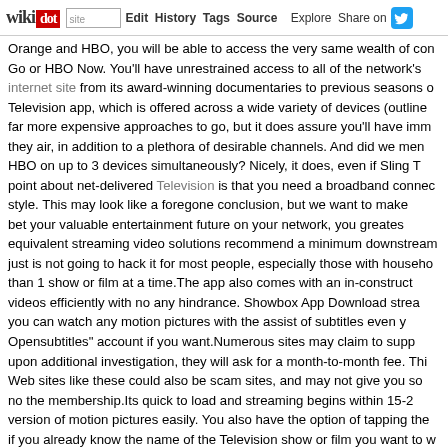wikidot | site | Edit | History | Tags | Source | Explore | Share on [Twitter]
Orange and HBO, you will be able to access the very same wealth of content as HBO Go or HBO Now. You'll have unrestrained access to all of the network's internet site from its award-winning documentaries to previous seasons of Television app, which is offered across a wide variety of devices (outline far more expensive approaches to go, but it does assure you'll have immediately they air, in addition to a plethora of desirable channels. And did we mention HBO on up to 3 devices simultaneously? Nicely, it does, even if Sling T point about net-delivered Television is that you need a broadband connection style. This may look like a foregone conclusion, but we want to make bet your valuable entertainment future on your network, you greatest equivalent streaming video solutions recommend a minimum downstream just is not going to hack it for most people, especially those with households than 1 show or film at a time.The app also comes with an in-constructed videos efficiently with no any hindrance. Showbox App Download stream you can watch any motion pictures with the assist of subtitles even Opensubtitles" account if you want.Numerous sites may claim to supply upon additional investigation, they will ask for a month-to-month fee. This Web sites like these could also be scam sites, and may not give you so no the membership.Its quick to load and streaming begins within 15-20 version of motion pictures easily. You also have the option of tapping the if you already know the name of the Television show or film you want to watch Thomas Keneally, Steven Spielberg's Schindler's List not only won several one particular of the greatest films of the century. In it, Spielberg businessman living in Planet War II Germany who saved the lives employment.Once you have all the required supplies for this stop-motion your little ones how stop-motion films operate. They will need to have picture on the app and then adjust the figures each so slightly. Then they the storyline is comprehensive.Amazon Prime Video for Apple Tv is lastly